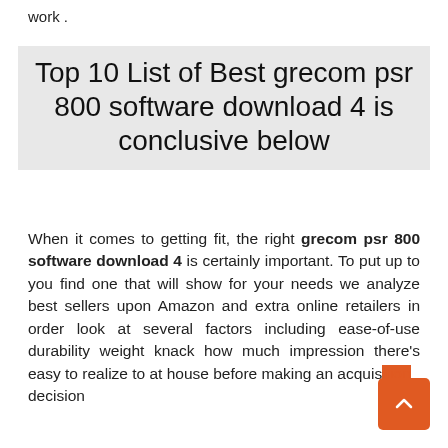work .
Top 10 List of Best grecom psr 800 software download 4 is conclusive below
When it comes to getting fit, the right grecom psr 800 software download 4 is certainly important. To put up to you find one that will show for your needs we analyze best sellers upon Amazon and extra online retailers in order look at several factors including ease-of-use durability weight knack how much impression there’s easy to realize to at house before making an acquisition decision